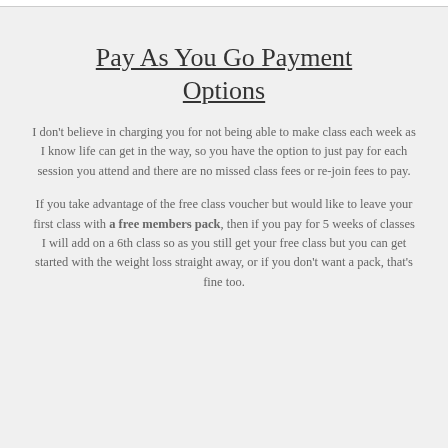Pay As You Go Payment Options
I don't believe in charging you for not being able to make class each week as I know life can get in the way, so you have the option to just pay for each session you attend and there are no missed class fees or re-join fees to pay.
If you take advantage of the free class voucher but would like to leave your first class with a free members pack, then if you pay for 5 weeks of classes I will add on a 6th class so as you still get your free class but you can get started with the weight loss straight away, or if you don't want a pack, that's fine too.